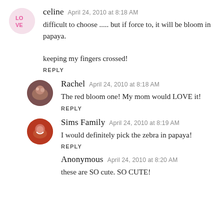[Figure (photo): Avatar for celine, circular, pink LOVE design]
celine   April 24, 2010 at 8:18 AM
difficult to choose ..... but if force to, it will be bloom in papaya.

keeping my fingers crossed!
REPLY
[Figure (photo): Avatar for Rachel, circular, photo of people]
Rachel   April 24, 2010 at 8:18 AM
The red bloom one! My mom would LOVE it!
REPLY
[Figure (photo): Avatar for Sims Family, circular, woman smiling]
Sims Family   April 24, 2010 at 8:19 AM
I would definitely pick the zebra in papaya!
REPLY
Anonymous   April 24, 2010 at 8:20 AM
these are SO cute. SO CUTE!